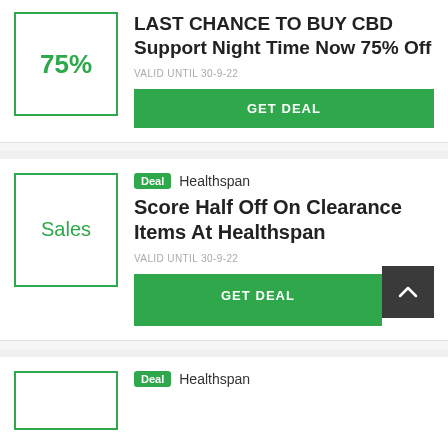[Figure (other): Deal card 1: badge box showing 75% in green, title 'LAST CHANCE TO BUY CBD Support Night Time Now 75% Off', valid until 30-9-22, GET DEAL button]
[Figure (other): Deal card 2: badge box showing 'Sales' in green, Deal tag + Healthspan brand, title 'Score Half Off On Clearance Items At Healthspan', valid until 30-9-22, GET DEAL button, scroll-to-top button overlay]
[Figure (other): Deal card 3 (partial): badge box empty, Deal tag + Healthspan brand]